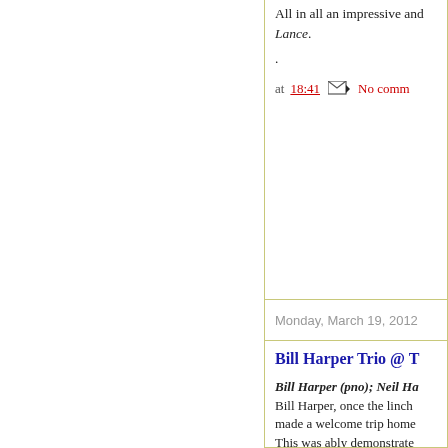All in all an impressive and... Lance.
.
at 18:41   [email icon] No comm...
Monday, March 19, 2012
Bill Harper Trio @ T...
Bill Harper (pno); Neil Ha... Bill Harper, once the linch... made a welcome trip home... This was ably demonstrate... In deference to our "Honor... I'm not sure what was in th... Bistro or not - that I've ev... some celeriac related comp... Meanwhile, up on stage Bi... he informed us was Dead...